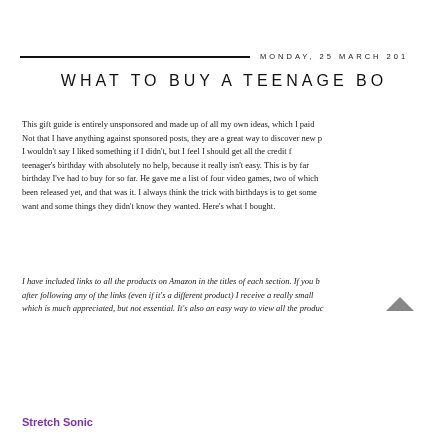MONDAY, 25 MARCH 201...
WHAT TO BUY A TEENAGE BO...
This gift guide is entirely unsponsored and made up of all my own ideas, which I paid... Not that I have anything against sponsored posts, they are a great way to discover new p... I wouldn't say I liked something if I didn't, but I feel I should get all the credit f... teenager's birthday with absolutely no help, because it really isn't easy. This is by far... birthday I've had to buy for so far. He gave me a list of four video games, two of which... been released yet, and that was it. I always think the trick with birthdays is to get some... want and some things they didn't know they wanted. Here's what I bought.
I have included links to all the products on Amazon in the titles of each section. If you b... after following any of the links (even if it's a different product) I receive a really small ... which is much appreciated, but not essential. It's also an easy way to view all the produc...
Stretch Sonic